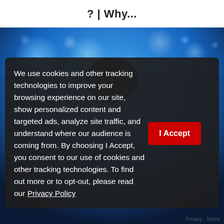? | Why...
[Figure (photo): Blue bokeh background with blurred light circles on a dark blue background]
We use cookies and other tracking technologies to improve your browsing experience on our site, show personalized content and targeted ads, analyze site traffic, and understand where our audience is coming from. By choosing I Accept, you consent to our use of cookies and other tracking technologies. To find out more or to opt-out, please read our Privacy Policy
Privacy · Terms